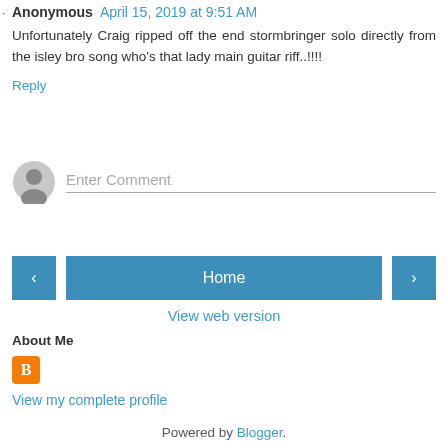Anonymous April 15, 2019 at 9:51 AM
Unfortunately Craig ripped off the end stormbringer solo directly from the isley bro song who's that lady main guitar riff..!!!!
Reply
[Figure (screenshot): Enter Comment input field with avatar icon]
[Figure (screenshot): Navigation buttons: left arrow, Home, right arrow]
View web version
About Me
[Figure (logo): Blogger orange icon with B logo]
View my complete profile
Powered by Blogger.